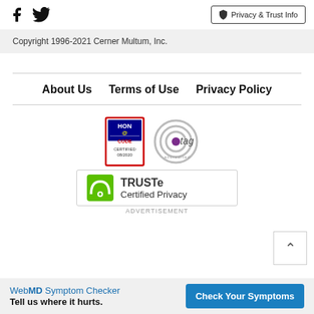[Figure (logo): Facebook and Twitter social media icons]
Privacy & Trust Info
Copyright 1996-2021 Cerner Multum, Inc.
About Us   Terms of Use   Privacy Policy
[Figure (logo): HON Code Certified 08/2020 badge and TAG Accredited logo]
[Figure (logo): TRUSTe Certified Privacy badge]
ADVERTISEMENT
WebMD Symptom Checker Tell us where it hurts. Check Your Symptoms